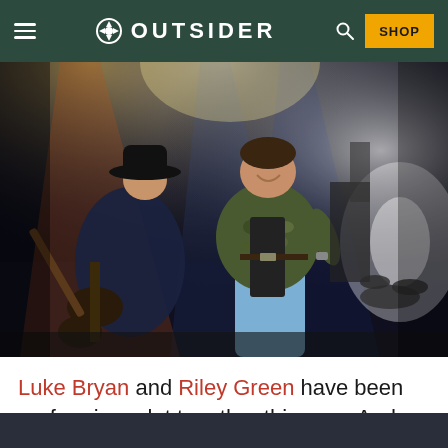OUTSIDER — SHOP
[Figure (photo): Two male country music performers on stage. One man wearing a black cowboy hat plays guitar, leaning forward, wearing a navy blue polo and dark pants. The other man stands tall smiling, wearing a camo jacket over a black t-shirt and light blue jeans, with stage lighting visible in the background.]
Luke Bryan and Riley Green have been performing a lot together this year. And they